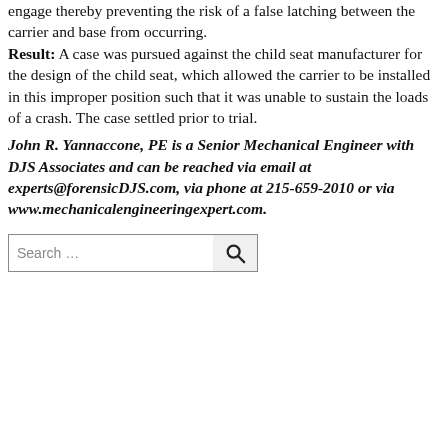engage thereby preventing the risk of a false latching between the carrier and base from occurring. Result: A case was pursued against the child seat manufacturer for the design of the child seat, which allowed the carrier to be installed in this improper position such that it was unable to sustain the loads of a crash. The case settled prior to trial.
John R. Yannaccone, PE is a Senior Mechanical Engineer with DJS Associates and can be reached via email at experts@forensicDJS.com, via phone at 215-659-2010 or via www.mechanicalengineeringexpert.com.